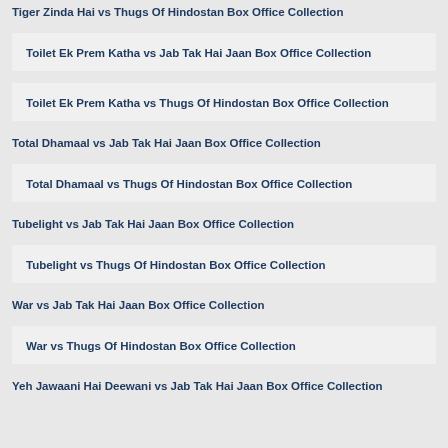Tiger Zinda Hai vs Thugs Of Hindostan Box Office Collection
Toilet Ek Prem Katha vs Jab Tak Hai Jaan Box Office Collection
Toilet Ek Prem Katha vs Thugs Of Hindostan Box Office Collection
Total Dhamaal vs Jab Tak Hai Jaan Box Office Collection
Total Dhamaal vs Thugs Of Hindostan Box Office Collection
Tubelight vs Jab Tak Hai Jaan Box Office Collection
Tubelight vs Thugs Of Hindostan Box Office Collection
War vs Jab Tak Hai Jaan Box Office Collection
War vs Thugs Of Hindostan Box Office Collection
Yeh Jawaani Hai Deewani vs Jab Tak Hai Jaan Box Office Collection